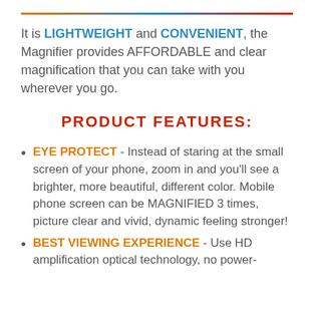It is LIGHTWEIGHT and CONVENIENT, the Magnifier provides AFFORDABLE and clear magnification that you can take with you wherever you go.
PRODUCT FEATURES:
EYE PROTECT - Instead of staring at the small screen of your phone, zoom in and you'll see a brighter, more beautiful, different color. Mobile phone screen can be MAGNIFIED 3 times, picture clear and vivid, dynamic feeling stronger!
BEST VIEWING EXPERIENCE - Use HD amplification optical technology, no power-